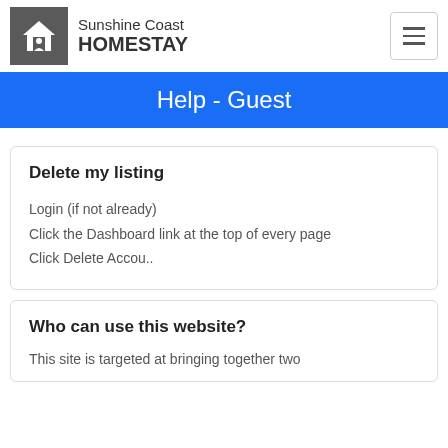Sunshine Coast HOMESTAY
Help - Guest
Delete my listing
Login (if not already)
Click the Dashboard link at the top of every page
Click Delete Accou..
Who can use this website?
This site is targeted at bringing together two